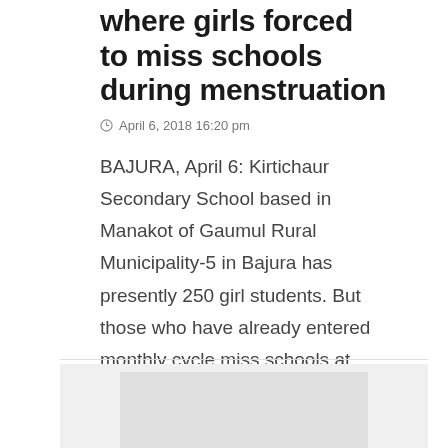where girls forced to miss schools during menstruation
April 6, 2018 16:20 pm
BAJURA, April 6: Kirtichaur Secondary School based in Manakot of Gaumul Rural Municipality-5 in Bajura has presently 250 girl students. But those who have already entered monthly cycle miss schools at least five days in a month.
[Figure (photo): Partially visible photo at the bottom of the page, mostly cropped out]